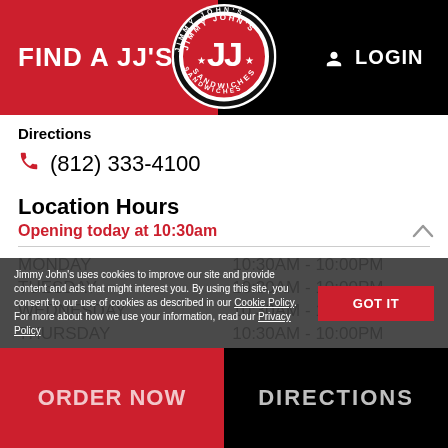[Figure (logo): Jimmy John's Sandwiches circular logo with JJ letters in red and white, black background]
FIND A JJ'S
LOGIN
Directions
(812) 333-4100
Location Hours
Opening today at 10:30am
| Day | Hours |
| --- | --- |
| MONDAY | 10:30AM - 10:00PM |
| TUESDAY | 10:30AM - 10:00PM |
| WEDNESDAY | 10:30AM - 10:00PM |
| THURSDAY | 10:30AM - 10:00PM |
| FRIDAY | 10:30AM - 10:00PM |
| SATURDAY | 10:30AM - 10:00PM |
| SUNDAY | 10:30AM - 10:00PM |
Delivery Hours
Delivery starting at 10:30am today
ORDER NOW
DIRECTIONS
Jimmy John's uses cookies to improve our site and provide content and ads that might interest you. By using this site, you consent to our use of cookies as described in our Cookie Policy. For more about how we use your information, read our Privacy Policy
GOT IT